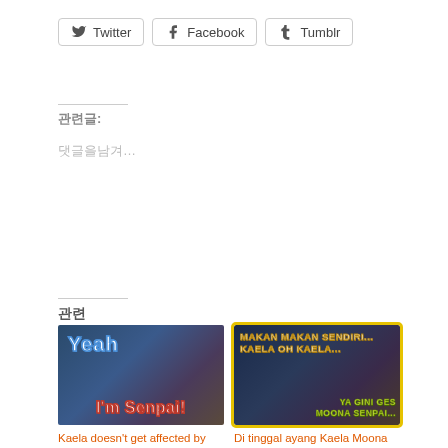[Figure (other): Share buttons row: Twitter, Facebook, Tumblr]
관련글:
댓글을남겨...
관련
[Figure (screenshot): Anime gaming screenshot with 'Yeah I'm Senpai!' text overlay]
Kaela doesn't get affected by IRyS's Senpai Pressure 【Hololive Eng Sub】
2022년8월16일
[Figure (screenshot): Anime screenshot with 'MAKAN MAKAN SENDIRI... KAELA OH KAELA... YA GINI GES MOONA SENPAI...' text overlay]
Di tinggal ayang Kaela Moona auto merana … 【Kaela Kovalskia】
2022년7월19일